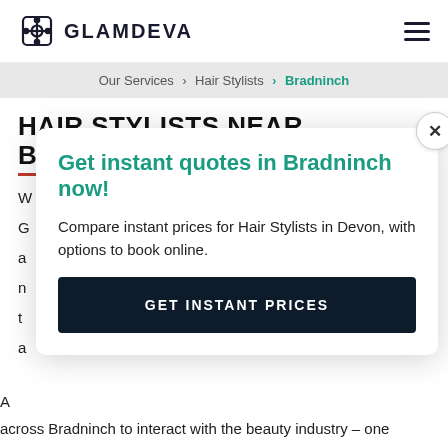GLAMDEVA
Our Services > Hair Stylists > Bradninch
HAIR STYLISTS NEAR BRADNINCH
[Figure (infographic): Modal popup with teal heading 'Get instant quotes in Bradninch now!', description text 'Compare instant prices for Hair Stylists in Devon, with options to book online.', and a dark navy GET INSTANT PRICES button. A close (x) button is in the top right corner.]
across Bradninch to interact with the beauty industry – one that brings it into the 21st century where it belongs. So, we